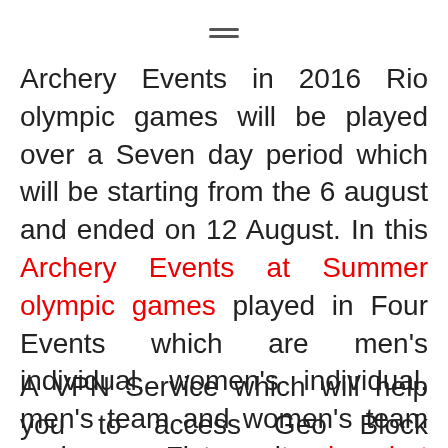[Figure (other): Hamburger menu icon (three horizontal lines)]
Archery Events in 2016 Rio olympic games will be played over a Seven day period which will be starting from the 6 august and ended on 12 August. In this Archery Events at Summer olympic games played in Four Events which are men's individual, women's individual, men's team and women's team and as per Fixtures its played at Sambadrome Marquês de Sapucaí.
A VPN Service which will help you to access Geo Block Content and Stream sports live without any restriction of